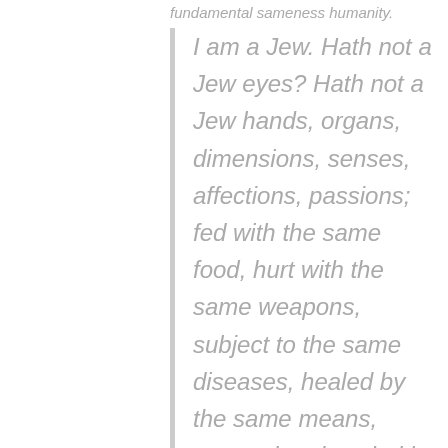fundamental sameness humanity.
I am a Jew. Hath not a Jew eyes? Hath not a Jew hands, organs, dimensions, senses, affections, passions; fed with the same food, hurt with the same weapons, subject to the same diseases, healed by the same means, warmed and cooled by the same winter and summer as a Christian is?